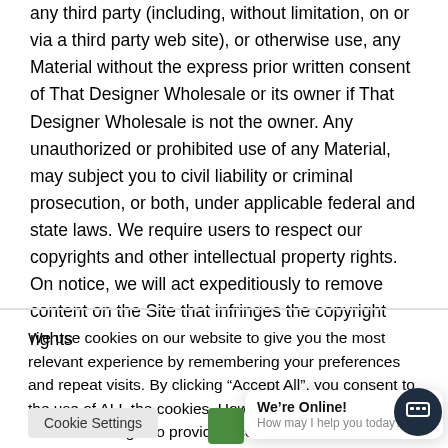any third party (including, without limitation, on or via a third party web site), or otherwise use, any Material without the express prior written consent of That Designer Wholesale or its owner if That Designer Wholesale is not the owner. Any unauthorized or prohibited use of any Material, may subject you to civil liability or criminal prosecution, or both, under applicable federal and state laws. We require users to respect our copyrights and other intellectual property rights. On notice, we will act expeditiously to remove content on the Site that infringes the copyright rights
We use cookies on our website to give you the most relevant experience by remembering your preferences and repeat visits. By clicking “Accept All”, you consent to the use of ALL the cookies. However, you may visit "Cookie Settings" to provide a controlled consent.
[Figure (screenshot): Cookie settings button, green Accept All button, and a chat popup saying 'We're Online! How may I help you today?' with a dark circular chat icon button on the right.]